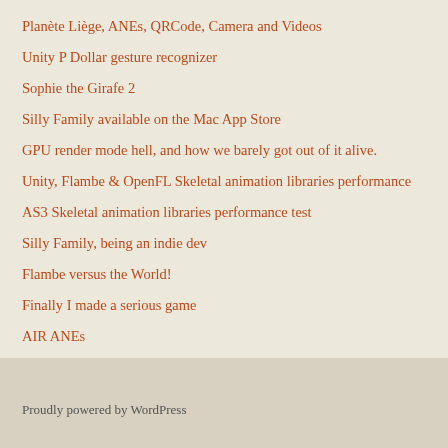Planète Liège, ANEs, QRCode, Camera and Videos
Unity P Dollar gesture recognizer
Sophie the Girafe 2
Silly Family available on the Mac App Store
GPU render mode hell, and how we barely got out of it alive.
Unity, Flambe & OpenFL Skeletal animation libraries performance
AS3 Skeletal animation libraries performance test
Silly Family, being an indie dev
Flambe versus the World!
Finally I made a serious game
AIR ANEs
Proudly powered by WordPress